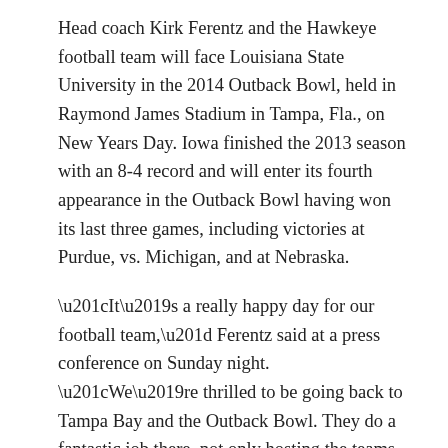Head coach Kirk Ferentz and the Hawkeye football team will face Louisiana State University in the 2014 Outback Bowl, held in Raymond James Stadium in Tampa, Fla., on New Years Day. Iowa finished the 2013 season with an 8-4 record and will enter its fourth appearance in the Outback Bowl having won its last three games, including victories at Purdue, vs. Michigan, and at Nebraska.
“It’s a really happy day for our football team,” Ferentz said at a press conference on Sunday night. “We’re thrilled to be going back to Tampa Bay and the Outback Bowl. They do a fantastic job there, not only hosting the teams, but also matching us with a marquee opponent.”
Thinking about traveling to the 2014 Outback Bowl? The Iowa Alumni Association has official fan travel packages that can include round-trip charter air,